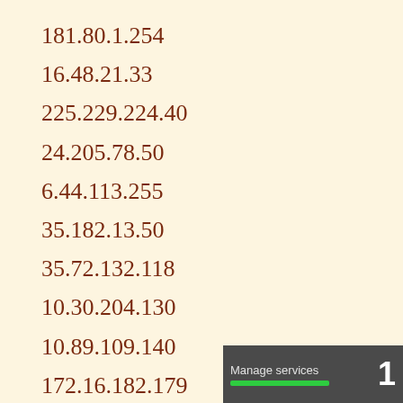181.80.1.254
16.48.21.33
225.229.224.40
24.205.78.50
6.44.113.255
35.182.13.50
35.72.132.118
10.30.204.130
10.89.109.140
172.16.182.179
10.24.126.80